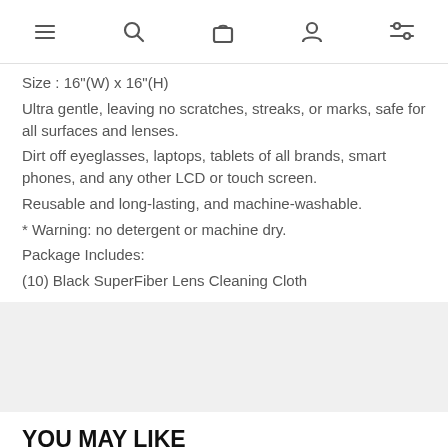Navigation bar with menu, search, bag, account, and filter icons
Size : 16"(W) x 16"(H)
Ultra gentle, leaving no scratches, streaks, or marks, safe for all surfaces and lenses.
Dirt off eyeglasses, laptops, tablets of all brands, smart phones, and any other LCD or touch screen.
Reusable and long-lasting, and machine-washable.
* Warning: no detergent or machine dry.
Package Includes:
(10) Black SuperFiber Lens Cleaning Cloth
YOU MAY LIKE